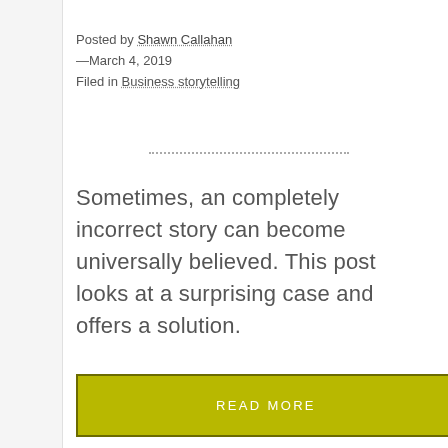Posted by Shawn Callahan —March 4, 2019
Filed in Business storytelling
……………………………
Sometimes, an completely incorrect story can become universally believed. This post looks at a surprising case and offers a solution.
READ MORE